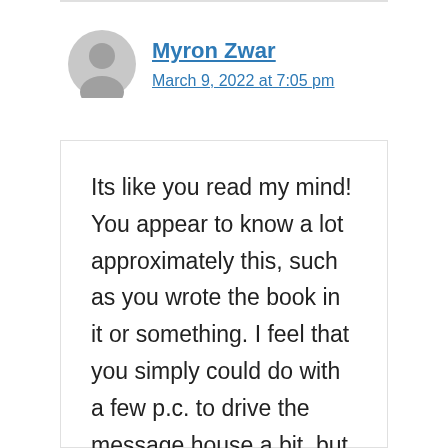Myron Zwar
March 9, 2022 at 7:05 pm
Its like you read my mind! You appear to know a lot approximately this, such as you wrote the book in it or something. I feel that you simply could do with a few p.c. to drive the message house a bit, but other than that, this is fantastic blog. A great